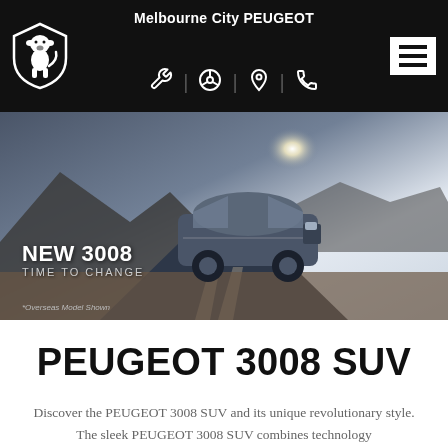Melbourne City PEUGEOT
[Figure (logo): Peugeot lion shield logo in white on black background]
[Figure (photo): Peugeot 3008 SUV on a mountain road at dusk with text overlay: NEW 3008 TIME TO CHANGE. Footnote: *Overseas Model Shown]
PEUGEOT 3008 SUV
Discover the PEUGEOT 3008 SUV and its unique revolutionary style. The sleek PEUGEOT 3008 SUV combines technology